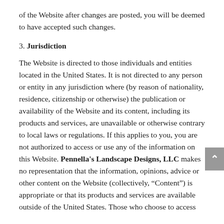of the Website after changes are posted, you will be deemed to have accepted such changes.
3. Jurisdiction
The Website is directed to those individuals and entities located in the United States. It is not directed to any person or entity in any jurisdiction where (by reason of nationality, residence, citizenship or otherwise) the publication or availability of the Website and its content, including its products and services, are unavailable or otherwise contrary to local laws or regulations. If this applies to you, you are not authorized to access or use any of the information on this Website. Pennella's Landscape Designs, LLC makes no representation that the information, opinions, advice or other content on the Website (collectively, “Content”) is appropriate or that its products and services are available outside of the United States. Those who choose to access